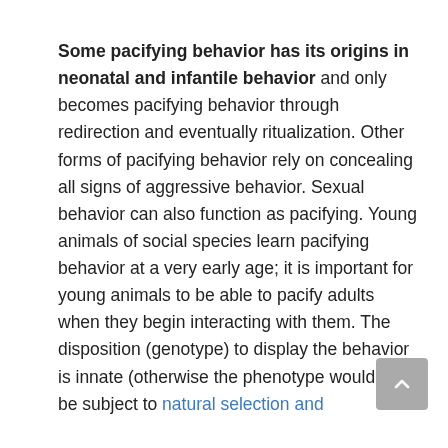Some pacifying behavior has its origins in neonatal and infantile behavior and only becomes pacifying behavior through redirection and eventually ritualization. Other forms of pacifying behavior rely on concealing all signs of aggressive behavior. Sexual behavior can also function as pacifying. Young animals of social species learn pacifying behavior at a very early age; it is important for young animals to be able to pacify adults when they begin interacting with them. The disposition (genotype) to display the behavior is innate (otherwise the phenotype would not be subject to natural selection and